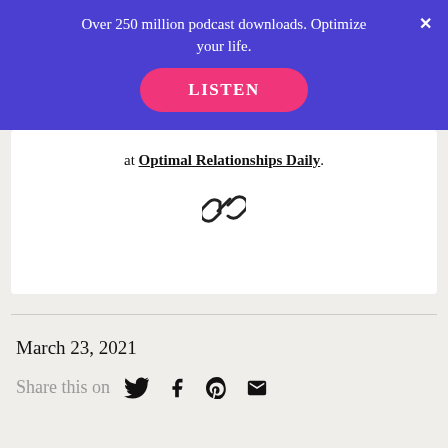Over 250 million podcast downloads. Optimize your life.
[Figure (other): LISTEN button (pink rounded rectangle)]
at Optimal Relationships Daily.
[Figure (other): Link/chain icon]
March 23, 2021
Share this on... (Twitter, Facebook, Pinterest, Email icons)